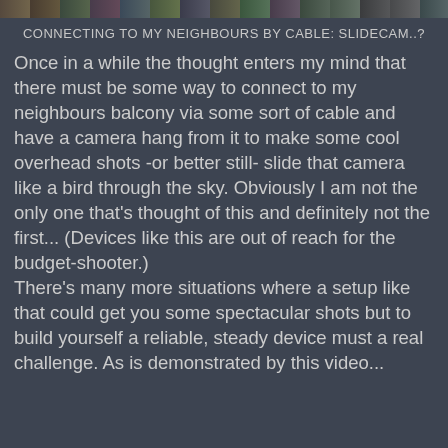[Figure (photo): Horizontal photo strip showing outdoor/nature scenes at the top of the page]
CONNECTING TO MY NEIGHBOURS BY CABLE: SLIDECAM..?
Once in a while the thought enters my mind that there must be some way to connect to my neighbours balcony via some sort of cable and have a camera hang from it to make some cool overhead shots -or better still- slide that camera like a bird through the sky. Obviously I am not the only one that's thought of this and definitely not the first... (Devices like this are out of reach for the budget-shooter.)
There's many more situations where a setup like that could get you some spectacular shots but to build yourself a reliable, steady device must a real challenge. As is demonstrated by this video...